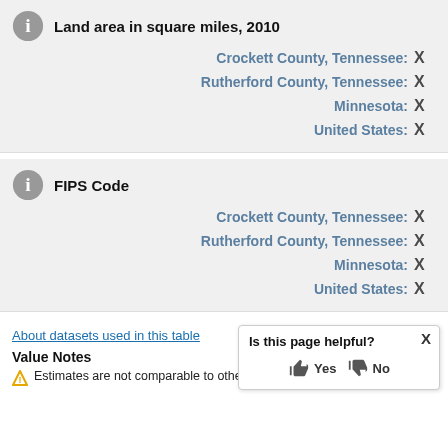Land area in square miles, 2010
Crockett County, Tennessee: X
Rutherford County, Tennessee: X
Minnesota: X
United States: X
FIPS Code
Crockett County, Tennessee: X
Rutherford County, Tennessee: X
Minnesota: X
United States: X
About datasets used in this table
Value Notes
Estimates are not comparable to other geograp